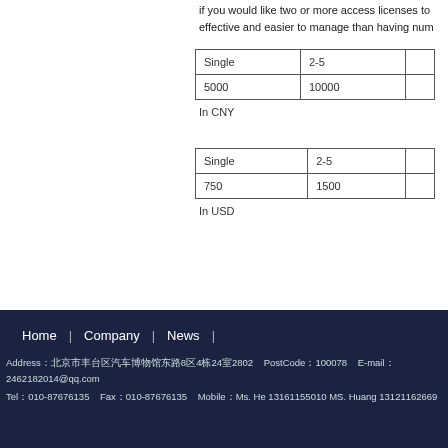if you would like two or more access licenses to... effective and easier to manage than having num...
| Single | 2-5 |  |
| --- | --- | --- |
| 5000 | 10000 |  |
In CNY
| Single | 2-5 |  |
| --- | --- | --- |
| 750 | 1500 |  |
In USD
Home | Company | News | Address...8区4栋24室2802 PostCode：100078 E-mail：2462182014@qq.com Tel：010-87676135 Fax：010-87676135 Mobile：Ms. He 13161155010 MS. Huang 13121162669